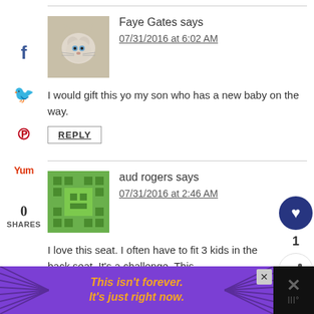Faye Gates says
07/31/2016 at 6:02 AM
I would gift this yo my son who has a new baby on the way.
REPLY
aud rogers says
07/31/2016 at 2:46 AM
I love this seat. I often have to fit 3 kids in the back seat. It's a challenge. This
[Figure (other): Advertisement banner: purple background with ray lines, orange italic text reading 'This isn't forever. It's just right now.' with close button]